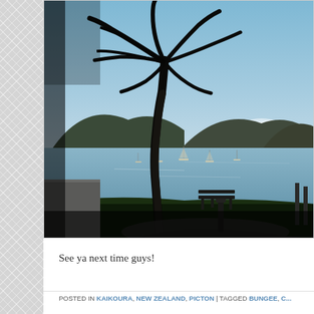[Figure (photo): Outdoor photo of a harbor or bay at dusk/early morning. A silhouetted palm tree is prominent on the left side. Several sailboats are moored in calm water. Green hills and mountains form the background under a blue sky. A park bench sits on a grassy foreground area, and a concrete path curves in the lower portion of the image. A dock/pier is visible on the right.]
See ya next time guys!
POSTED IN KAIKOURA, NEW ZEALAND, PICTON | TAGGED BUNGEE, C...